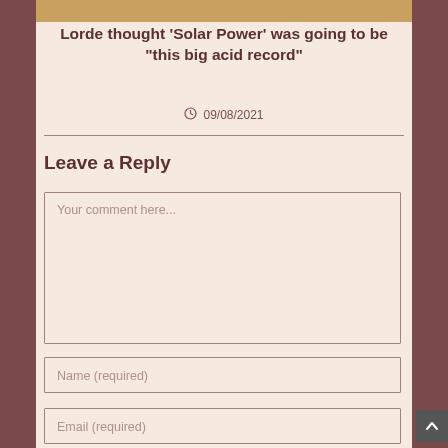[Figure (photo): Top portion of a photo, cropped — appears to show a person with yellow/golden background]
Lorde thought ‘Solar Power’ was going to be “this big acid record”
09/08/2021
Leave a Reply
Your comment here...
Name (required)
Email (required)